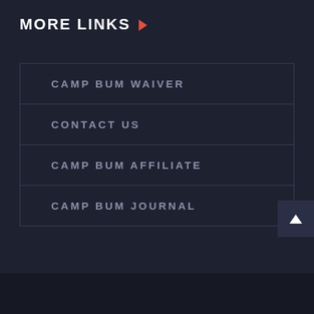MORE LINKS
CAMP BUM WAIVER
CONTACT US
CAMP BUM AFFILIATE
CAMP BUM JOURNAL
Social icons: Facebook, Twitter, Instagram, YouTube, TikTok